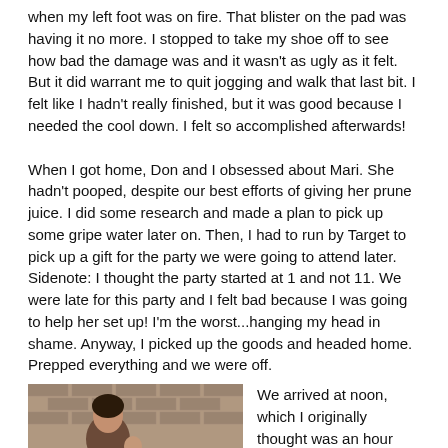when my left foot was on fire. That blister on the pad was having it no more. I stopped to take my shoe off to see how bad the damage was and it wasn't as ugly as it felt. But it did warrant me to quit jogging and walk that last bit. I felt like I hadn't really finished, but it was good because I needed the cool down. I felt so accomplished afterwards!
When I got home, Don and I obsessed about Mari. She hadn't pooped, despite our best efforts of giving her prune juice. I did some research and made a plan to pick up some gripe water later on. Then, I had to run by Target to pick up a gift for the party we were going to attend later. Sidenote: I thought the party started at 1 and not 11. We were late for this party and I felt bad because I was going to help her set up! I'm the worst...hanging my head in shame. Anyway, I picked up the goods and headed home. Prepped everything and we were off.
[Figure (photo): A woman holding a baby, photographed in front of a brick wall.]
We arrived at noon, which I originally thought was an hour early, but come to find out, was an hour late. Oh